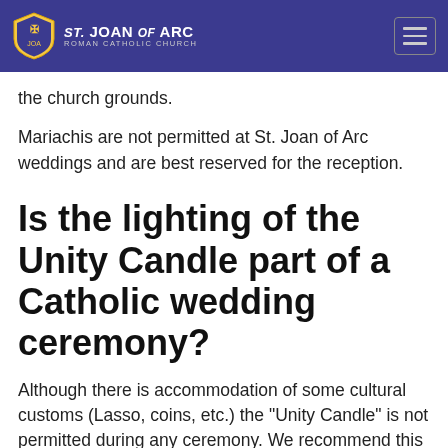St. Joan of Arc Roman Catholic Church
the church grounds.
Mariachis are not permitted at St. Joan of Arc weddings and are best reserved for the reception.
Is the lighting of the Unity Candle part of a Catholic wedding ceremony?
Although there is accommodation of some cultural customs (Lasso, coins, etc.) the "Unity Candle" is not permitted during any ceremony. We recommend this practice for the reception. The unity candle is not part of the rite of marriage in the Catholic Church and never has been. Your unity is shown publicly in the